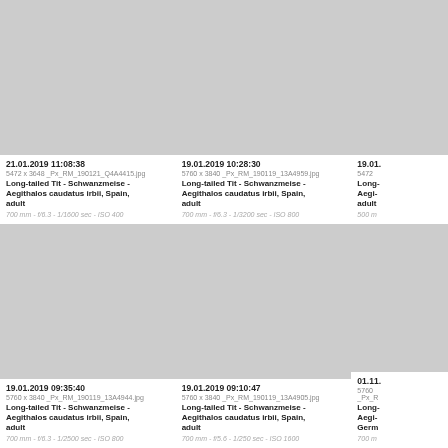[Figure (photo): Photo thumbnail placeholder - top left, bird image]
21.01.2019 11:08:38
5472 x 3648 _Px_RM_190121_Q4A4415.jpg
Long-tailed Tit - Schwanzmeise - Aegithalos caudatus irbii, Spain, adult
700 mm - f/6.3 - 1/1600 sec - ISO 400
[Figure (photo): Photo thumbnail placeholder - top center, bird image]
19.01.2019 10:28:30
5760 x 3840 _Px_RM_190119_13A4959.jpg
Long-tailed Tit - Schwanzmeise - Aegithalos caudatus irbii, Spain, adult
700 mm - f/6.3 - 1/3200 sec - ISO 800
[Figure (photo): Photo thumbnail placeholder - top right (partially visible), bird image]
19.01.
5472
Long-
Aegi-
adult
500 m
[Figure (photo): Photo thumbnail placeholder - bottom left, bird image]
19.01.2019 09:35:40
5760 x 3840 _Px_RM_190119_13A4944.jpg
Long-tailed Tit - Schwanzmeise - Aegithalos caudatus irbii, Spain, adult
700 mm - f/6.3 - 1/2500 sec - ISO 800
[Figure (photo): Photo thumbnail placeholder - bottom center, bird image]
19.01.2019 09:10:47
5760 x 3840 _Px_RM_190119_13A4905.jpg
Long-tailed Tit - Schwanzmeise - Aegithalos caudatus irbii, Spain, adult
700 mm - f/5.6 - 1/250 sec - ISO 1600
[Figure (photo): Photo thumbnail placeholder - bottom right (partially visible), bird image]
01.11.
5760
_Px_R
Long-
Aegi-
Germ
700 m